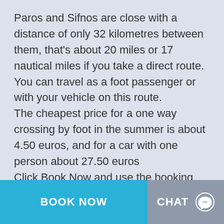Paros and Sifnos are close with a distance of only 32 kilometres between them, that's about 20 miles or 17 nautical miles if you take a direct route.
You can travel as a foot passenger or with your vehicle on this route.
The cheapest price for a one way crossing by foot in the summer is about 4.50 euros, and for a car with one person about 27.50 euros
Click Book Now and use the booking form to get the latest prices and see the real sailing